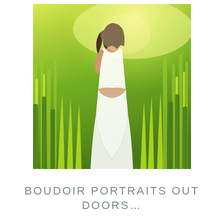[Figure (photo): Outdoor boudoir portrait of a woman in a white dress standing in a bright sunlit green field with tall grasses and wildflowers. The woman has dark hair and is posed with her back partially turned, arms crossed. The photo has a dreamy, high-key, sun-drenched quality with yellow-green tones.]
BOUDOIR PORTRAITS OUT DOORS...